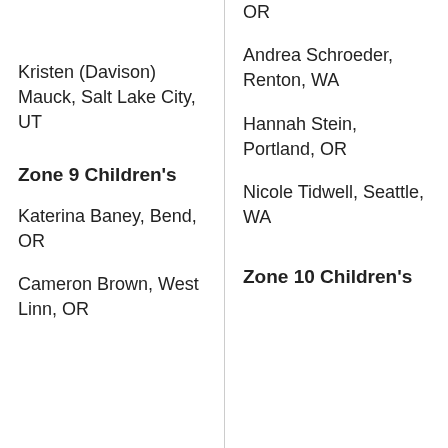Kristen (Davison) Mauck, Salt Lake City, UT
Zone 9 Children's
Katerina Baney, Bend, OR
Cameron Brown, West Linn, OR
OR
Andrea Schroeder, Renton, WA
Hannah Stein, Portland, OR
Nicole Tidwell, Seattle, WA
Zone 10 Children's